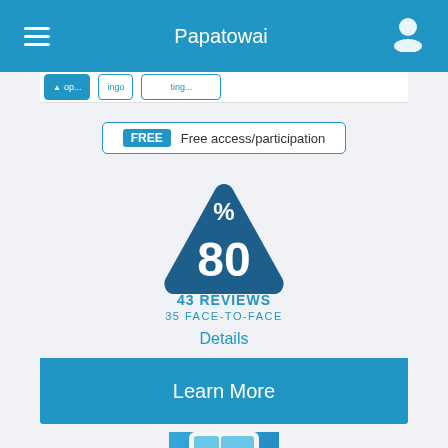Papatowai
FREE  Free access/participation
[Figure (infographic): Dark blue rounded triangle badge with percent symbol at top and large '80' in white, indicating 80% rating]
43 REVIEWS
35 FACE-TO-FACE
Details
Learn More
[Figure (photo): NZ travel app icon showing a yellow VW camper van with NZ heart logo]